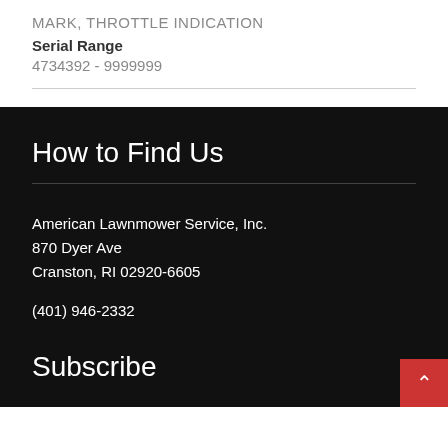MARK, THROTTLE INDICATION
Serial Range
4734392 - 9999999
How to Find Us
American Lawnmower Service, Inc.
870 Dyer Ave
Cranston, RI 02920-6605
(401) 946-2332
Subscribe